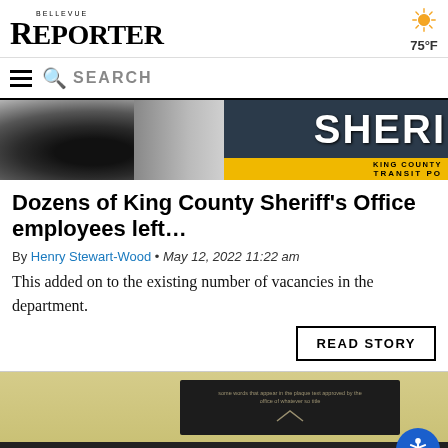Bellevue Reporter
[Figure (screenshot): Navigation search bar with hamburger menu icon and SEARCH text]
[Figure (photo): King County Sheriff Transit Police vehicle showing tire and SHERI text on yellow/black badge]
Dozens of King County Sheriff’s Office employees left…
By Henry Stewart-Wood • May 12, 2022 11:22 am
This added on to the existing number of vacancies in the department.
READ STORY
[Figure (photo): Interior room with yellow walls, dark wall plaque with mountain logo, and dark desk with papers. Blue accessibility icon in bottom right.]